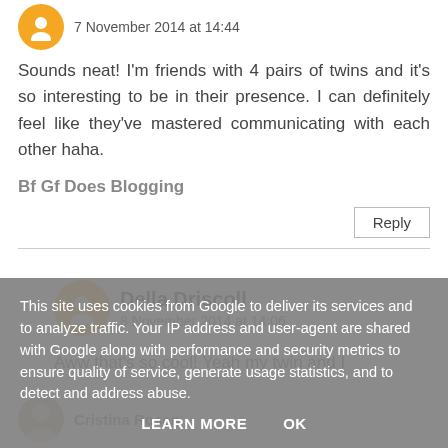7 November 2014 at 14:44
Sounds neat! I'm friends with 4 pairs of twins and it's so interesting to be in their presence. I can definitely feel like they've mastered communicating with each other haha.
Bf Gf Does Blogging
Reply
Della Driscoll
8 November 2014 at 14:06
Aww that's so cool! Yeah my twin and I
Cristina Rosen
This site uses cookies from Google to deliver its services and to analyze traffic. Your IP address and user-agent are shared with Google along with performance and security metrics to ensure quality of service, generate usage statistics, and to detect and address abuse.
LEARN MORE
OK